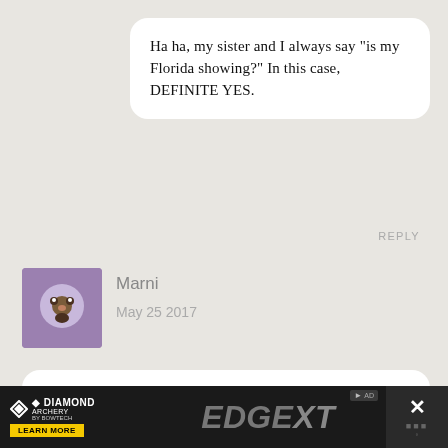Ha ha, my sister and I always say “is my Florida showing?” In this case, DEFINITE YES.
REPLY
[Figure (photo): Small square avatar image showing a brown cat or animal face, purple/dark background]
Marni
May 25 2017
I LOVE the Universal parks!! The detail in the Harry Potter sections is absolutely unbelievable (and as a Potterhead, I fully encourage you to follow their suggestions and read the books!). Since you loved Seuss Landing so much,
[Figure (screenshot): Diamond Archery advertisement banner at the bottom of the page featuring EDGE XT product, Learn More button, and a close button]